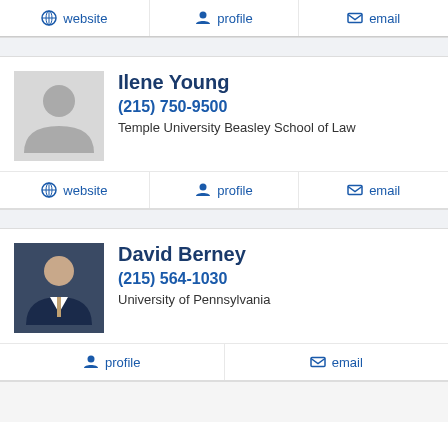website | profile | email
Ilene Young
(215) 750-9500
Temple University Beasley School of Law
website | profile | email
David Berney
(215) 564-1030
University of Pennsylvania
profile | email